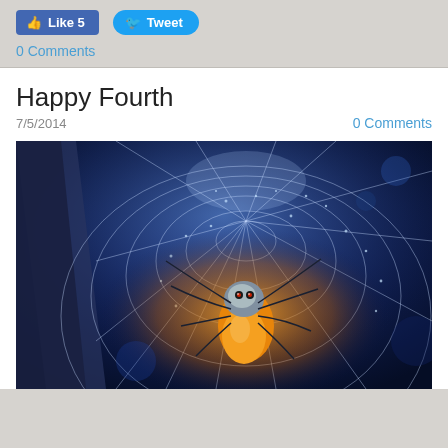[Figure (other): Facebook Like button showing 'Like 5' and Twitter Tweet button]
0 Comments
Happy Fourth
7/5/2014
0 Comments
[Figure (photo): Close-up macro photograph of a spider in its web against a dark blue background, with orange and yellow coloring on the spider's body]